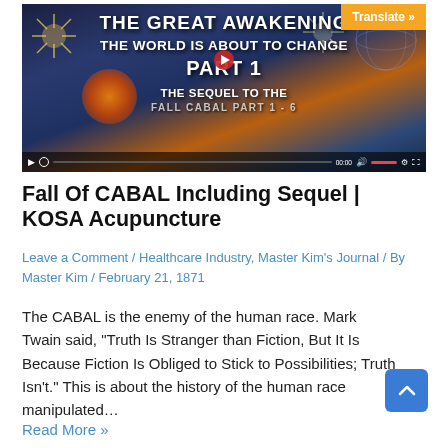[Figure (screenshot): Video thumbnail for 'The Great Awakening – The World Is About To Change Part 1, The Sequel to the Fall Cabal Part 1-6' with a dark blue/orange background, fireworks, globe imagery, play button, and a translate button in the top right corner.]
Fall Of CABAL Including Sequel | KOSA Acupuncture
Leave a Comment / Healthcare Industry, Master Kim's Journal / By Master Kim / February 21, 1871
The CABAL is the enemy of the human race. Mark Twain said, "Truth Is Stranger than Fiction, But It Is Because Fiction Is Obliged to Stick to Possibilities; Truth Isn't." This is about the history of the human race manipulated…
Read More »